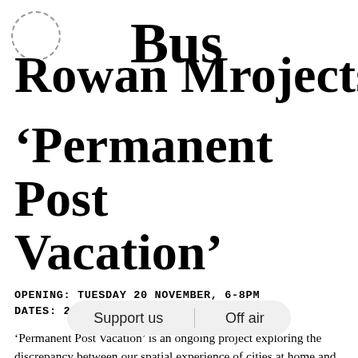[Figure (illustration): Dashed circle outline in top-left corner]
Bus Projects
Rowan Moore,
'Permanent Post Vacation'
OPENING: TUESDAY 20 NOVEMBER, 6-8PM
DATES: 20 NOVEMBER-8 DECEMBER 2012
'Permanent Post Vacation' is an ongoing project exploring the discrepancy between our spatial experience of cities at home and overseas, as solitary backpackers and as integrated locals. I am interested in the interstitial space between arrival and settlement. The point before we fall back into the general flow of everyday life, where travel becomes more or less routine. Where innocent exploration is replaced by more goal-directed, time-wasting. Responding to personal feelings associated with
Support us   Off air